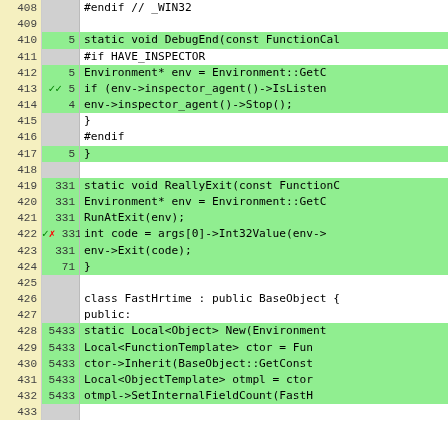[Figure (screenshot): Code coverage viewer showing C++ source lines 408-433. Yellow left column shows line numbers, gray middle column shows execution counts, green/white right column shows source code. Lines 410,412-414,417 and 419-424 and 428-432 are highlighted green (covered). Lines 413 and 422 have coverage markers (checkmarks/X) in the gray column.]